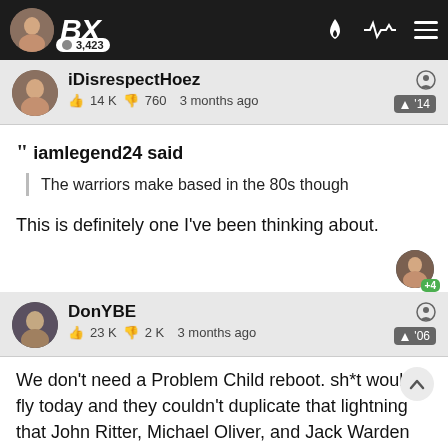BX 3,423
iDisrespectHoez
👍 14K 👎 760   3 months ago   '14
iamlegend24 said
The warriors make based in the 80s though
This is definitely one I've been thinking about.
DonYBE
👍 23K 👎 2K   3 months ago   '06
We don't need a Problem Child reboot. sh*t wouldn't fly today and they couldn't duplicate that lightning that John Ritter, Michael Oliver, and Jack Warden brought.